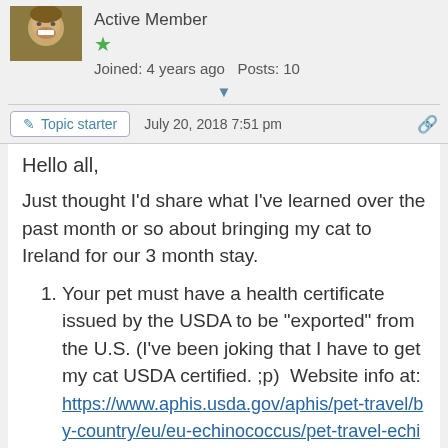[Figure (photo): User avatar showing a person smiling, brown/olive skin tones]
Active Member
★
Joined: 4 years ago   Posts: 10
▼
Topic starter   July 20, 2018 7:51 pm
Hello all,
Just thought I'd share what I've learned over the past month or so about bringing my cat to Ireland for our 3 month stay.
Your pet must have a health certificate issued by the USDA to be "exported" from the U.S. (I've been joking that I have to get my cat USDA certified. ;p)  Website info at: https://www.aphis.usda.gov/aphis/pet-travel/by-country/eu/eu-echinococcus/pet-travel-echinococcus-treatments | https://www.aphis.usda.gov/aphis/pet-